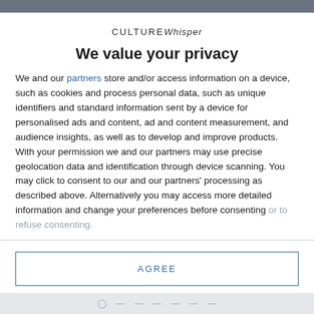CULTUREWhisper
We value your privacy
We and our partners store and/or access information on a device, such as cookies and process personal data, such as unique identifiers and standard information sent by a device for personalised ads and content, ad and content measurement, and audience insights, as well as to develop and improve products. With your permission we and our partners may use precise geolocation data and identification through device scanning. You may click to consent to our and our partners' processing as described above. Alternatively you may access more detailed information and change your preferences before consenting or to refuse consenting.
AGREE
MORE OPTIONS